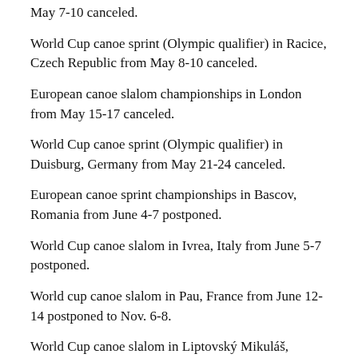May 7-10 canceled.
World Cup canoe sprint (Olympic qualifier) in Racice, Czech Republic from May 8-10 canceled.
European canoe slalom championships in London from May 15-17 canceled.
World Cup canoe sprint (Olympic qualifier) in Duisburg, Germany from May 21-24 canceled.
European canoe sprint championships in Bascov, Romania from June 4-7 postponed.
World Cup canoe slalom in Ivrea, Italy from June 5-7 postponed.
World cup canoe slalom in Pau, France from June 12-14 postponed to Nov. 6-8.
World Cup canoe slalom in Liptovský Mikuláš, Slovakia from Aug. 21-23 canceled.